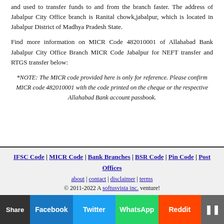and used to transfer funds to and from the branch faster. The address of Jabalpur City Office branch is Ranital chowk,jabalpur, which is located in Jabalpur District of Madhya Pradesh State.
Find more information on MICR Code 482010001 of Allahabad Bank Jabalpur City Office Branch MICR Code Jabalpur for NEFT transfer and RTGS transfer below:
*NOTE: The MICR code provided here is only for reference. Please confirm MICR code 482010001 with the code printed on the cheque or the respective Allahabad Bank account passbook.
IFSC Code | MICR Code | Bank Branches | BSR Code | Pin Code | Post Offices
about | contact | disclaimer | terms
© 2011-2022 A softusvista inc. venture!